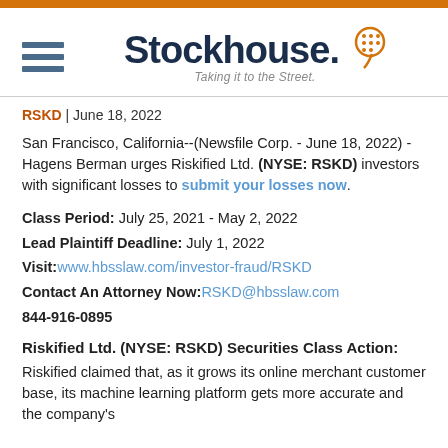[Figure (logo): Stockhouse logo with hamburger menu icon, orange head icon, and tagline 'Taking it to the Street.']
RSKD | June 18, 2022
San Francisco, California--(Newsfile Corp. - June 18, 2022) - Hagens Berman urges Riskified Ltd. (NYSE: RSKD) investors with significant losses to submit your losses now.
Class Period: July 25, 2021 - May 2, 2022
Lead Plaintiff Deadline: July 1, 2022
Visit: www.hbsslaw.com/investor-fraud/RSKD
Contact An Attorney Now: RSKD@hbsslaw.com
844-916-0895
Riskified Ltd. (NYSE: RSKD) Securities Class Action:
Riskified claimed that, as it grows its online merchant customer base, its machine learning platform gets more accurate and the company's